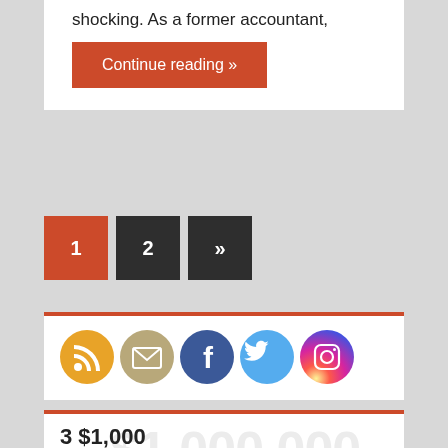shocking. As a former accountant,
Continue reading »
1
2
»
[Figure (infographic): Social media icons: RSS feed (orange), Email (tan/beige), Facebook (blue), Twitter (light blue), Instagram (purple/gradient)]
3 $1,000
BOOK AWARDS